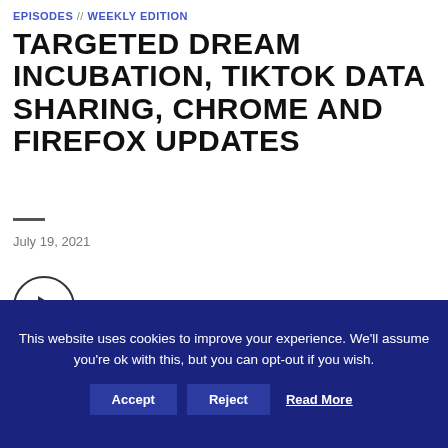EPISODES // WEEKLY EDITION
TARGETED DREAM INCUBATION, TIKTOK DATA SHARING, CHROME AND FIREFOX UPDATES
July 19, 2021
[Figure (other): Play episode button: circle with play triangle icon, labeled PLAY EPISODE]
This website uses cookies to improve your experience. We'll assume you're ok with this, but you can opt-out if you wish. Accept Reject Read More